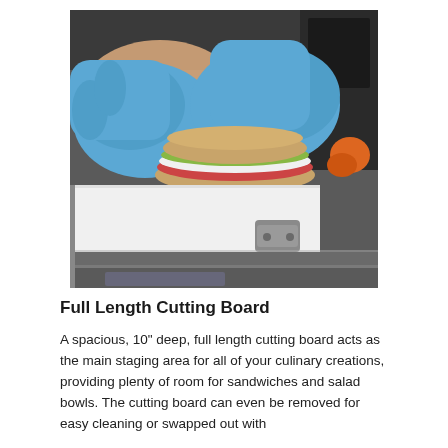[Figure (photo): A person wearing blue nitrile gloves preparing a sandwich on a white cutting board mounted on a commercial refrigerated sandwich/salad prep station. The cutting board is attached to the stainless steel unit with a metal bracket.]
Full Length Cutting Board
A spacious, 10" deep, full length cutting board acts as the main staging area for all of your culinary creations, providing plenty of room for sandwiches and salad bowls. The cutting board can even be removed for easy cleaning or swapped out with